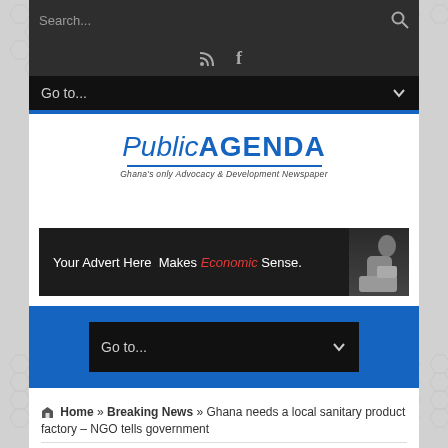[Figure (screenshot): Mobile website screenshot of Public Agenda newspaper. Contains search bar, social icons, navigation dropdown, logo with tagline, advertisement banner, second navigation dropdown, and breadcrumb trail.]
Search...
Go to...
[Figure (logo): Public Agenda logo - italic 'Public' followed by bold 'AGENDA' in blue, with tagline 'Ghana's only Advocacy & Development Newspaper']
[Figure (infographic): Advertisement banner: 'Your Advert Here Makes Economic Sense.' with a figure of a person reading]
Go to...
Home » Breaking News » Ghana needs a local sanitary product factory – NGO tells government